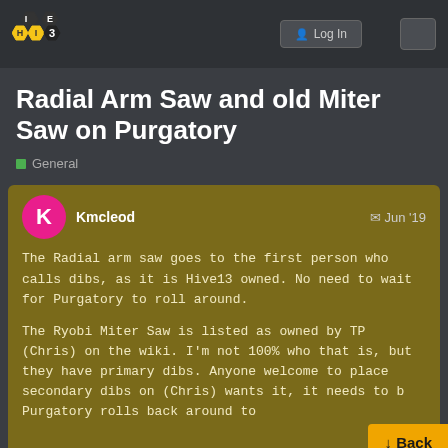Hive — Log In
Radial Arm Saw and old Miter Saw on Purgatory
General
Kmcleod — Jun '19

The Radial arm saw goes to the first person who calls dibs, as it is Hive13 owned. No need to wait for Purgatory to roll around.

The Ryobi Miter Saw is listed as owned by TP (Chris) on the wiki. I'm not 100% who that is, but they have primary dibs. Anyone welcome to place secondary dibs on (Chris) wants it, it needs to b Purgatory rolls back around to